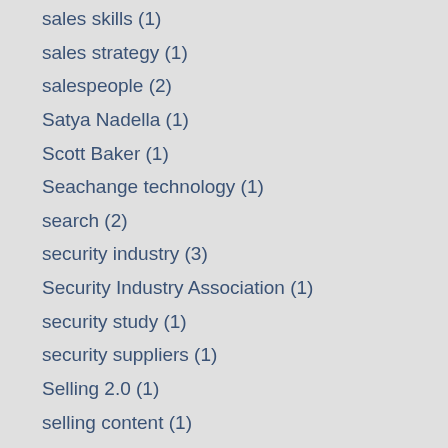sales skills (1)
sales strategy (1)
salespeople (2)
Satya Nadella (1)
Scott Baker (1)
Seachange technology (1)
search (2)
security industry (3)
Security Industry Association (1)
security study (1)
security suppliers (1)
Selling 2.0 (1)
selling content (1)
selling strategy (1)
selling with ideas (1)
selling with surveys (2)